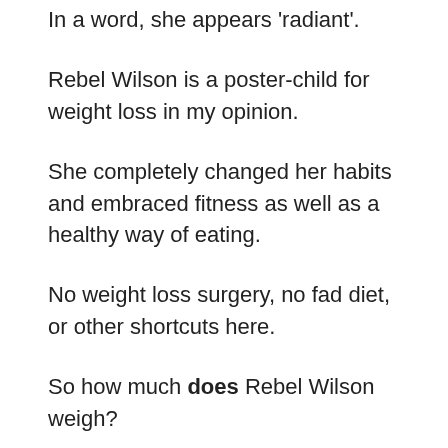In a word, she appears 'radiant'.
Rebel Wilson is a poster-child for weight loss in my opinion.
She completely changed her habits and embraced fitness as well as a healthy way of eating.
No weight loss surgery, no fad diet, or other shortcuts here.
So how much does Rebel Wilson weigh?
Nobody knows for sure, but we do know she has lost 60 pounds of extra weight since 2016!